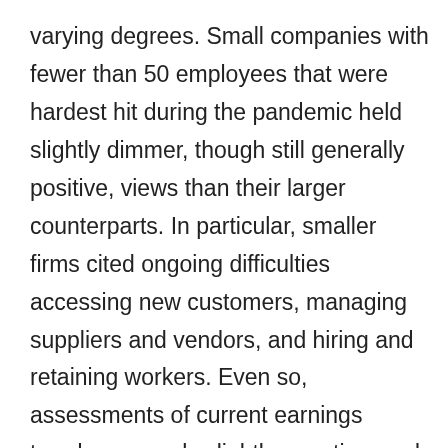varying degrees. Small companies with fewer than 50 employees that were hardest hit during the pandemic held slightly dimmer, though still generally positive, views than their larger counterparts. In particular, smaller firms cited ongoing difficulties accessing new customers, managing suppliers and vendors, and hiring and retaining workers. Even so, assessments of current earnings trends were only slightly negative, and small firms held a sunny disposition when it comes to the current state of the San Diego economy and business climate.